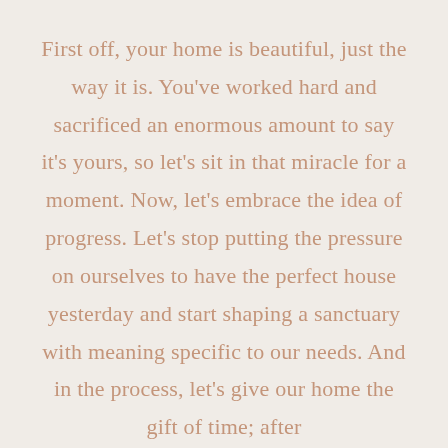First off, your home is beautiful, just the way it is. You've worked hard and sacrificed an enormous amount to say it's yours, so let's sit in that miracle for a moment. Now, let's embrace the idea of progress. Let's stop putting the pressure on ourselves to have the perfect house yesterday and start shaping a sanctuary with meaning specific to our needs. And in the process, let's give our home the gift of time; after